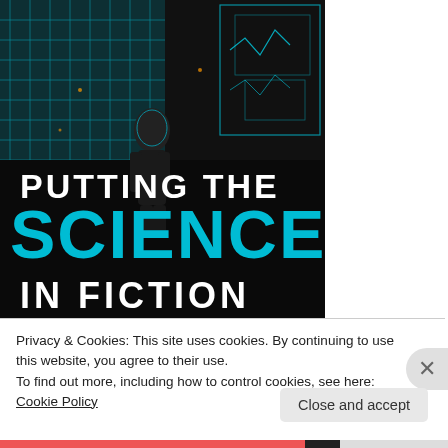[Figure (illustration): Book cover for 'Putting the Science in Fiction' showing a silhouetted figure standing in front of glowing teal/cyan digital grid structures on a dark background. Large text reads 'PUTTING THE' in white, 'SCIENCE' in bold teal, 'IN FICTION' in white.]
Privacy & Cookies: This site uses cookies. By continuing to use this website, you agree to their use.
To find out more, including how to control cookies, see here: Cookie Policy
Close and accept